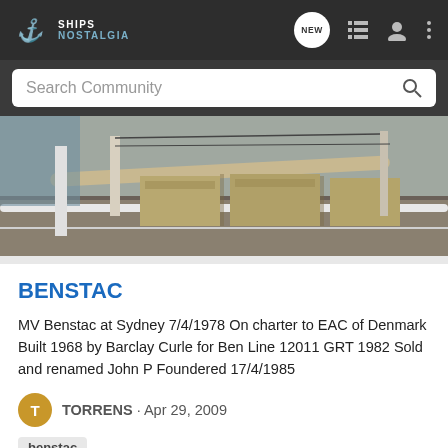SHIPS NOSTALGIA
[Figure (screenshot): Ships Nostalgia website navigation bar with logo, NEW badge, list icon, user icon, and more icon]
Search Community
[Figure (photo): Photo of ship deck showing large gun barrel or boom, cargo hatches with yellow/tan equipment visible]
BENSTAC
MV Benstac at Sydney 7/4/1978 On charter to EAC of Denmark Built 1968 by Barclay Curle for Ben Line 12011 GRT 1982 Sold and renamed John P Foundered 17/4/1985
TORRENS · Apr 29, 2009
benstac